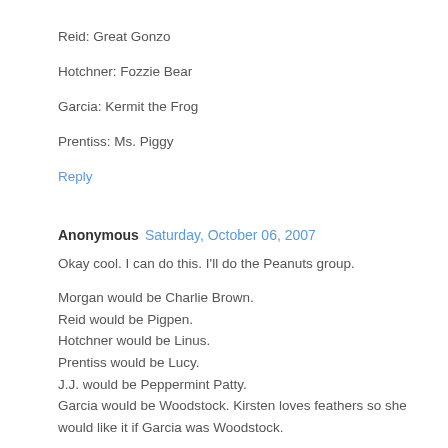Reid: Great Gonzo
Hotchner: Fozzie Bear
Garcia: Kermit the Frog
Prentiss: Ms. Piggy
Reply
Anonymous  Saturday, October 06, 2007
Okay cool. I can do this. I'll do the Peanuts group.

Morgan would be Charlie Brown.
Reid would be Pigpen.
Hotchner would be Linus.
Prentiss would be Lucy.
J.J. would be Peppermint Patty.
Garcia would be Woodstock. Kirsten loves feathers so she would like it if Garcia was Woodstock.